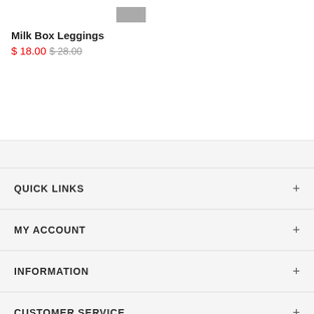[Figure (other): Gray rectangular product image placeholder at top]
Milk Box Leggings
$ 18.00  $ 28.00
QUICK LINKS
MY ACCOUNT
INFORMATION
CUSTOMER SERVICE
AFFILIATE PROGRAM